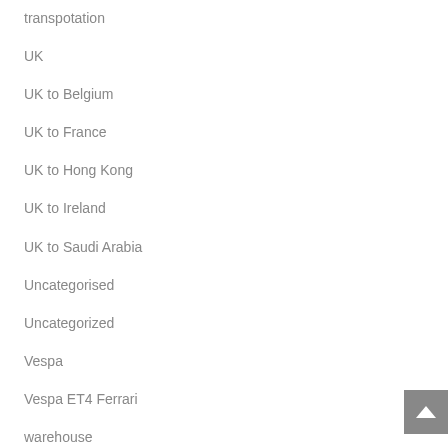transpotation
UK
UK to Belgium
UK to France
UK to Hong Kong
UK to Ireland
UK to Saudi Arabia
Uncategorised
Uncategorized
Vespa
Vespa ET4 Ferrari
warehouse
World Solar Car Championship
worldwide
worldwide export